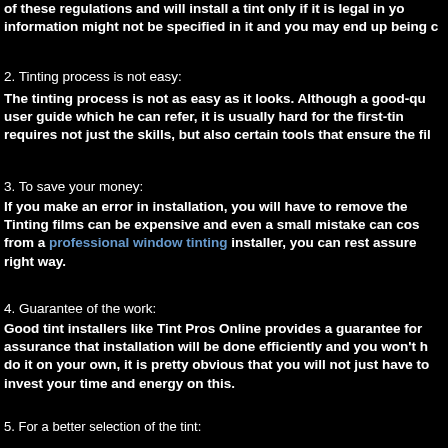of these regulations and will install a tint only if it is legal in yo... information might not be specified in it and you may end up being c...
2. Tinting process is not easy:
The tinting process is not as easy as it looks. Although a good-qu... user guide which he can refer, it is usually hard for the first-ti... requires not just the skills, but also certain tools that ensure the fil...
3. To save your money:
If you make an error in installation, you will have to remove the... Tinting films can be expensive and even a small mistake can cos... from a professional window tinting installer, you can rest assure... right way.
4. Guarantee of the work:
Good tint installers like Tint Pros Online provides a guarantee for... assurance that installation will be done efficiently and you won't h... do it on your own, it is pretty obvious that you will not just have to... invest your time and energy on this.
5. For a better selection of the tint:
There are many types of tints available in the market and each has... the right tint can be difficult for the first-timers. One is bound to e... tints, grades, and manufacturing companies. There is so much...